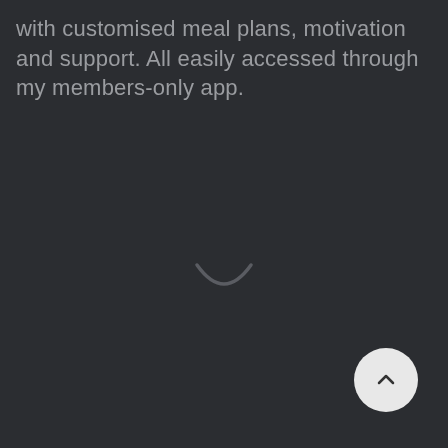with customised meal plans, motivation and support. All easily accessed through my members-only app.
[Figure (other): Spinner / loading indicator arc, dark grey on dark background]
[Figure (other): Back-to-top button: circular light grey button with upward chevron arrow]